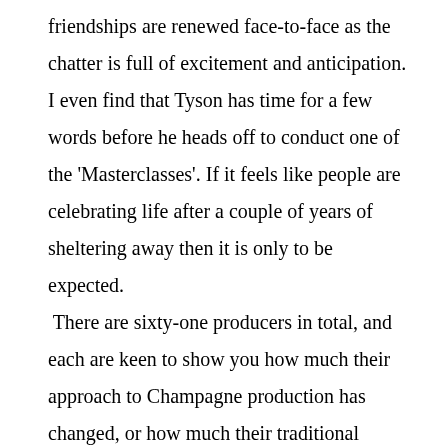friendships are renewed face-to-face as the chatter is full of excitement and anticipation. I even find that Tyson has time for a few words before he heads off to conduct one of the 'Masterclasses'. If it feels like people are celebrating life after a couple of years of sheltering away then it is only to be expected. There are sixty-one producers in total, and each are keen to show you how much their approach to Champagne production has changed, or how much their traditional values have been enhanced. In a lot of